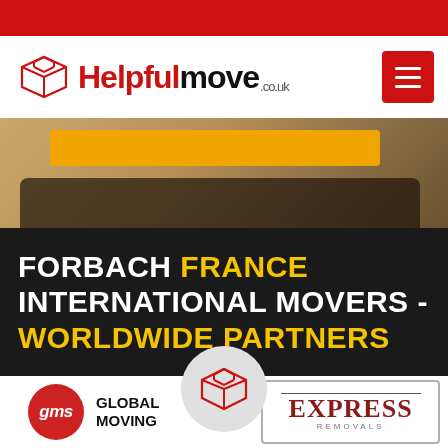[Figure (logo): Red top bar decorative element]
[Figure (logo): HelpfulMove.co.uk logo with open box icon and red hamburger menu button]
[Figure (photo): Hero background photo showing cardboard/moving boxes with yellow bar overlay]
FORBACH FRANCE INTERNATIONAL MOVERS - WORLDWIDE PARTNERS
[Figure (logo): HelpfulMove circular icon with red open box outline on grey circle background]
[Figure (logo): GMS Global Moving Services logo - red circle with gms italic text, plus GLOBAL MOVING label]
[Figure (logo): EXPRESS logo in dark red serif font, within a bordered rectangle]